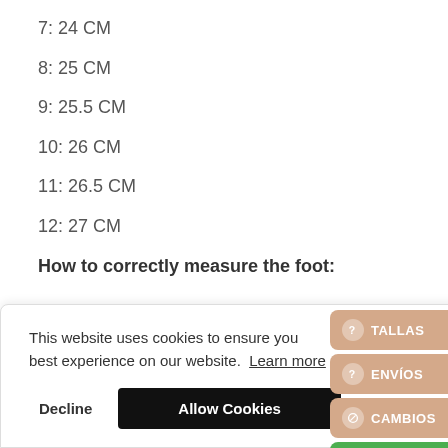7: 24 CM
8: 25 CM
9: 25.5 CM
10: 26 CM
11: 26.5 CM
12: 27 CM
How to correctly measure the foot:
This website uses cookies to ensure you best experience on our website. Learn more
Decline | Allow Cookies
TALLAS | ENVÍOS | CAMBIOS | WHATSAPP